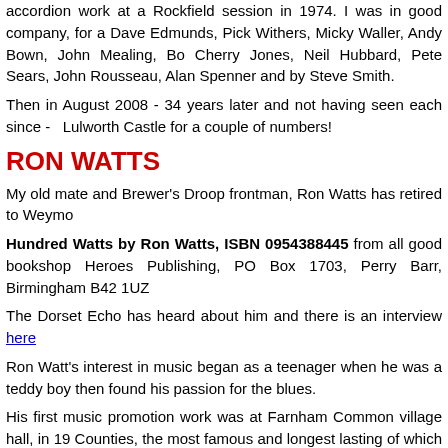accordion work at a Rockfield session in 1974. I was in good company, for a Dave Edmunds, Pick Withers, Micky Waller, Andy Bown, John Mealing, Bo Cherry Jones, Neil Hubbard, Pete Sears, John Rousseau, Alan Spenner and by Steve Smith.
Then in August 2008 - 34 years later and not having seen each since - Lulworth Castle for a couple of numbers!
RON WATTS
My old mate and Brewer's Droop frontman, Ron Watts has retired to Weymo
Hundred Watts by Ron Watts, ISBN 0954388445 from all good bookshop Heroes Publishing, PO Box 1703, Perry Barr, Birmingham B42 1UZ
The Dorset Echo has heard about him and there is an interview here
Ron Watt's interest in music began as a teenager when he was a teddy boy then found his passion for the blues.
His first music promotion work was at Farnham Common village hall, in 19 Counties, the most famous and longest lasting of which was the Nag's Hea John Lee Hooker and Muddy Waters, as well as the likes of Marc Bolan, making names for themselves.
He moved to London, setting up the National Blues Federation to promote bl Club, where he continued to book top blues names, as well as acts rang Wilson. Ron also sang for several years with the High Wycombe-based Brew stage act made them a favourite of the college and festival circuits. One in Straits.
In February 1976, Ron saw the Sex Pistols at, what was then known as, Hi straight away. He booked them for a residency at the 100 Club, in London a Pistols, Clash, Damned and Buzzcocks, amongst others, and which has gon
The venue became the home of punk and throughout 1977 Ron booked wh